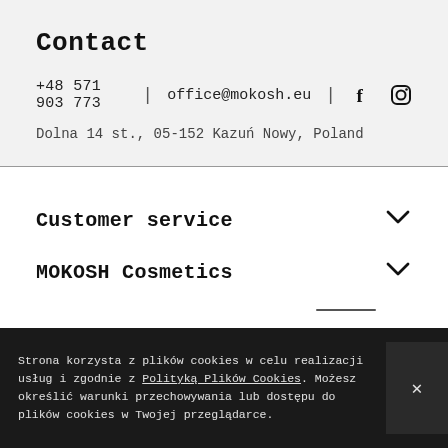Contact
+48 571 903 773 | office@mokosh.eu | [Facebook] [Instagram]
Dolna 14 st., 05-152 Kazuń Nowy, Poland
Customer service
MOKOSH Cosmetics
Strona korzysta z plików cookies w celu realizacji usług i zgodnie z Polityką Plików Cookies. Możesz określić warunki przechowywania lub dostępu do plików cookies w Twojej przeglądarce.